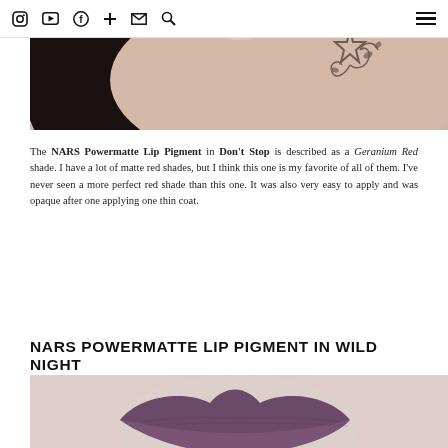Navigation bar with social/utility icons: Instagram, YouTube, Facebook, Plus, Email, Search, and hamburger menu
[Figure (photo): Close-up photo of a person with dark hair and a tattoo on their shoulder/upper arm area against a light background. The tattoo features a star and floral/vine design.]
The NARS Powermatte Lip Pigment in Don't Stop is described as a Geranium Red shade. I have a lot of matte red shades, but I think this one is my favorite of all of them. I've never seen a more perfect red shade than this one. It was also very easy to apply and was opaque after one applying one thin coat.
NARS POWERMATTE LIP PIGMENT IN WILD NIGHT
[Figure (photo): Close-up photo of lips wearing a dark matte purple/plum lipstick shade against fair skin.]